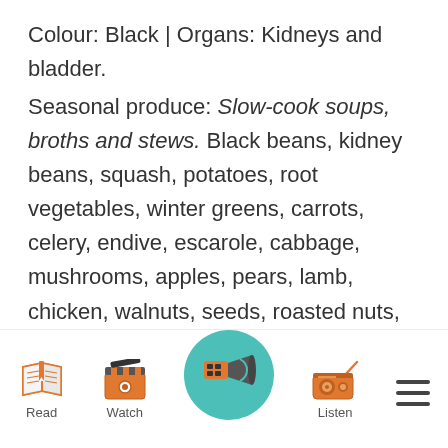Colour: Black | Organs: Kidneys and bladder.
Seasonal produce: Slow-cook soups, broths and stews. Black beans, kidney beans, squash, potatoes, root vegetables, winter greens, carrots, celery, endive, escarole, cabbage, mushrooms, apples, pears, lamb, chicken, walnuts, seeds, roasted nuts, quinoa, oats, rye, barley, millet. (Ragland, 2019)
[Figure (infographic): Navigation bar with icons: Read (open book), Watch (clapperboard), center highlighted app icon on teal circle, Listen (radio), and hamburger menu.]